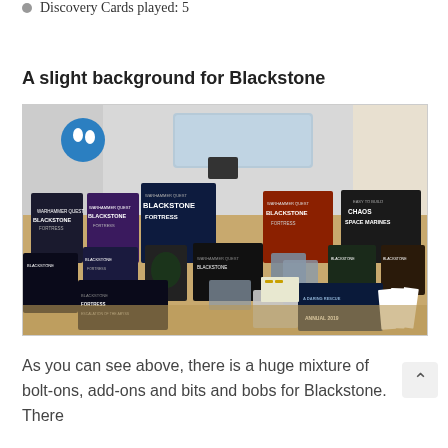Discovery Cards played: 5
A slight background for Blackstone
[Figure (photo): A large collection of Blackstone Fortress board game boxes, expansions, add-ons, miniatures, cards, and accessories spread out on a wooden table. Multiple Blackstone Fortress branded boxes are visible including the core set and various expansions such as Chaos Space Marines. A 'Blackstone Annual 2019' book is visible at the bottom right. A blue footprint safety sign is visible in the background.]
As you can see above, there is a huge mixture of bolt-ons, add-ons and bits and bobs for Blackstone. There